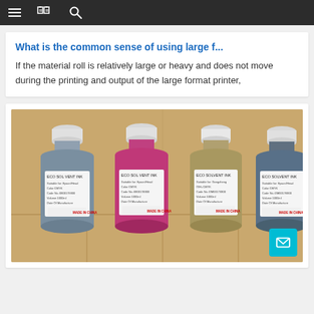Navigation bar with menu, bookmark, and search icons
What is the common sense of using large f...
If the material roll is relatively large or heavy and does not move during the printing and output of the large format printer,
[Figure (photo): Four bottles of ECO SOLVENT INK in cyan/grey, magenta/pink, yellow/khaki, and grey/cyan colors, labeled with Epson/head compatibility, CMYK colors, code numbers, 1000ml volume, and Made in China, arranged on cardboard boxes background.]